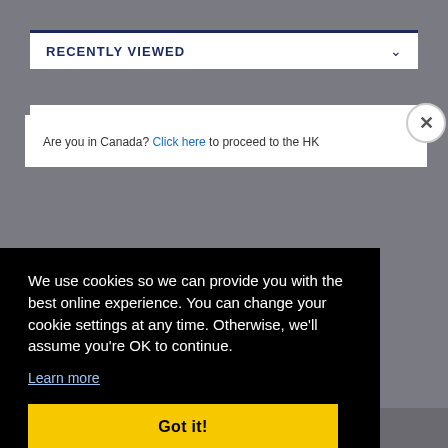RECENTLY VIEWED
← Previous Product    Next Product →
Are you in Canada? Click here to proceed to the HK
We use cookies so we can provide you with the best online experience. You can change your cookie settings at any time. Otherwise, we'll assume you're OK to continue.
Learn more
Got it!